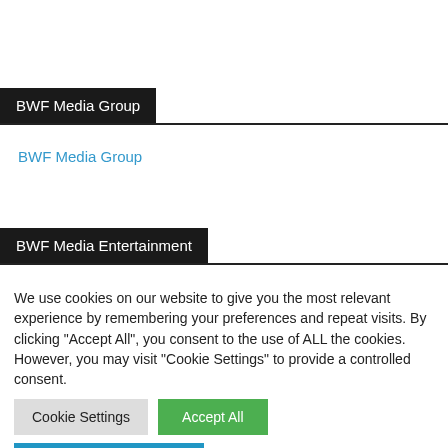BWF Media Group
BWF Media Group
BWF Media Entertainment
We use cookies on our website to give you the most relevant experience by remembering your preferences and repeat visits. By clicking “Accept All”, you consent to the use of ALL the cookies. However, you may visit "Cookie Settings" to provide a controlled consent.
Cookie Settings
Accept All
Translate »